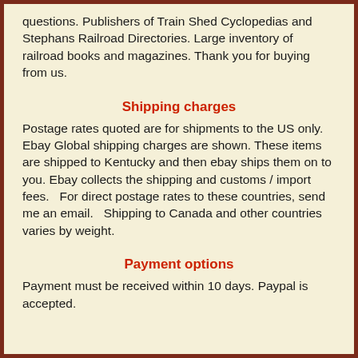questions. Publishers of Train Shed Cyclopedias and Stephans Railroad Directories. Large inventory of railroad books and magazines. Thank you for buying from us.
Shipping charges
Postage rates quoted are for shipments to the US only.   Ebay Global shipping charges are shown. These items are shipped to Kentucky and then ebay ships them on to you. Ebay collects the shipping and customs / import fees.   For direct postage rates to these countries, send me an email.   Shipping to Canada and other countries varies by weight.
Payment options
Payment must be received within 10 days. Paypal is accepted.